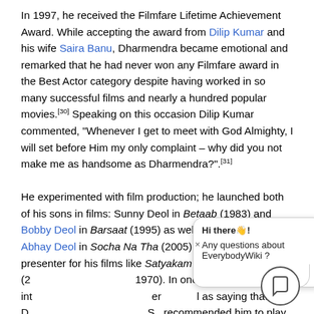In 1997, he received the Filmfare Lifetime Achievement Award. While accepting the award from Dilip Kumar and his wife Saira Banu, Dharmendra became emotional and remarked that he had never won any Filmfare award in the Best Actor category despite having worked in so many successful films and nearly a hundred popular movies.[30] Speaking on this occasion Dilip Kumar commented, "Whenever I get to meet with God Almighty, I will set before Him my only complaint – why did you not make me as handsome as Dharmendra?".[31]

He experimented with film production; he launched both of his sons in films: Sunny Deol in Betaab (1983) and Bobby Deol in Barsaat (1995) as well as his nephew Abhay Deol in Socha Na Tha (2005).[32] He was the presenter for his films like Satyakam (2...) ...1970). In one of her interviews ... as saying that D... S... recommended him to play her father's role in Har Pal
[Figure (screenshot): Chat widget overlay showing 'Hi there! Any questions about EverybodyWiki?' with a chat bubble icon and close button.]